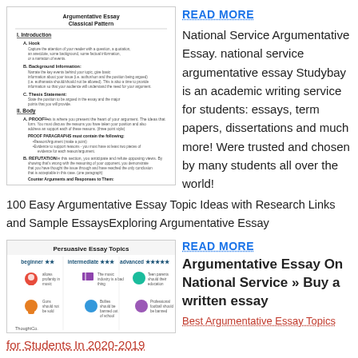[Figure (illustration): Scanned document showing 'Argumentative Essay Classical Pattern' with sections I. Introduction, II. Body, III. Conclusion and sub-points]
READ MORE
National Service Argumentative Essay. national service argumentative essay Studybay is an academic writing service for students: essays, term papers, dissertations and much more! Were trusted and chosen by many students all over the world!100 Easy Argumentative Essay Topic Ideas with Research Links and Sample EssaysExploring Argumentative Essay
[Figure (illustration): Colorful infographic titled 'Persuasive Essay Topics' showing beginner, intermediate, advanced categories with icons, from ThoughtCo]
READ MORE
Argumentative Essay On National Service » Buy a written essay
Best Argumentative Essay Topics
for Students In 2020-2019